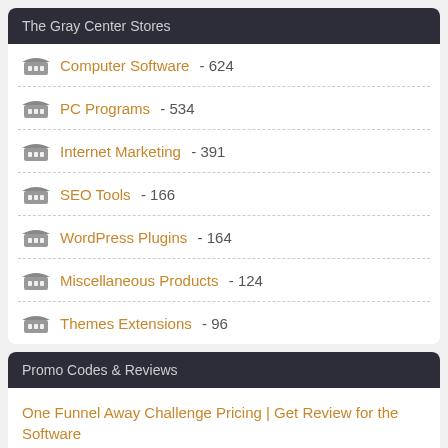The Gray Center Stores
Computer Software - 624
PC Programs - 534
Internet Marketing - 391
SEO Tools - 166
WordPress Plugins - 164
Miscellaneous Products - 124
Themes Extensions - 96
Promo Codes & Reviews
One Funnel Away Challenge Pricing | Get Review for the Software